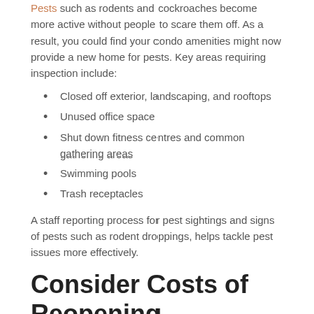Pests such as rodents and cockroaches become more active without people to scare them off. As a result, you could find your condo amenities might now provide a new home for pests. Key areas requiring inspection include:
Closed off exterior, landscaping, and rooftops
Unused office space
Shut down fitness centres and common gathering areas
Swimming pools
Trash receptacles
A staff reporting process for pest sightings and signs of pests such as rodent droppings, helps tackle pest issues more effectively.
Consider Costs of Reopening Condo Amenities